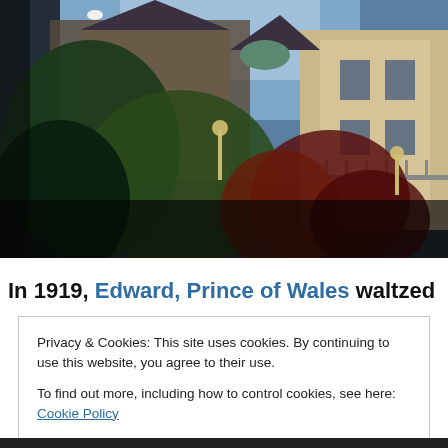[Figure (photo): Photograph of a historic building exterior covered in ivy and climbing plants, with turrets and balconies visible against a blue sky. Green and red foliage dominates the foreground.]
In 1919, Edward, Prince of Wales waltzed into the
Privacy & Cookies: This site uses cookies. By continuing to use this website, you agree to their use.
To find out more, including how to control cookies, see here: Cookie Policy
[Close and accept]